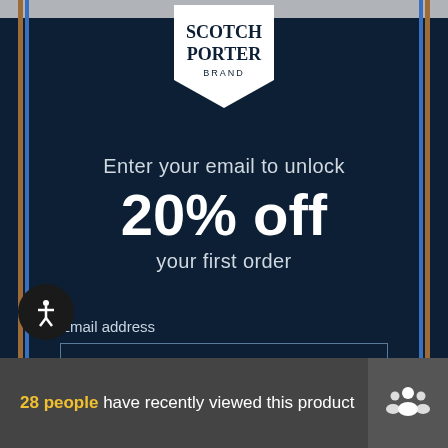[Figure (logo): Scotch Porter Brand logo — white pentagon/badge shape with 'SCOTCH PORTER BRAND' text in black serif font]
Enter your email to unlock
20% off
your first order
Email address
28 people have recently viewed this product